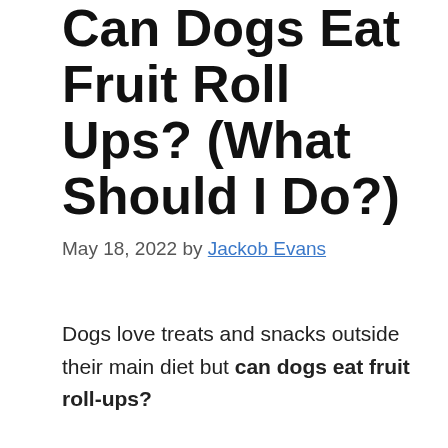Can Dogs Eat Fruit Roll Ups? (What Should I Do?)
May 18, 2022 by Jackob Evans
Dogs love treats and snacks outside their main diet but can dogs eat fruit roll-ups?